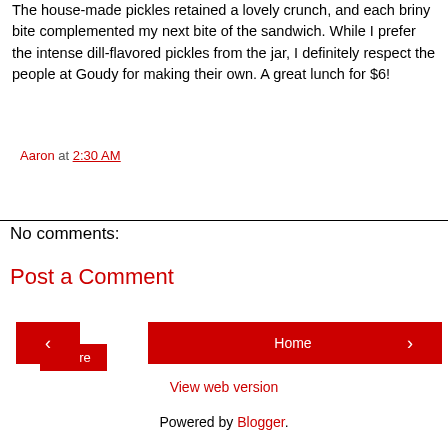The house-made pickles retained a lovely crunch, and each briny bite complemented my next bite of the sandwich. While I prefer the intense dill-flavored pickles from the jar, I definitely respect the people at Goudy for making their own. A great lunch for $6!
Aaron at 2:30 AM
Share
No comments:
Post a Comment
‹ (prev navigation)
Home
› (next navigation)
View web version
Powered by Blogger.